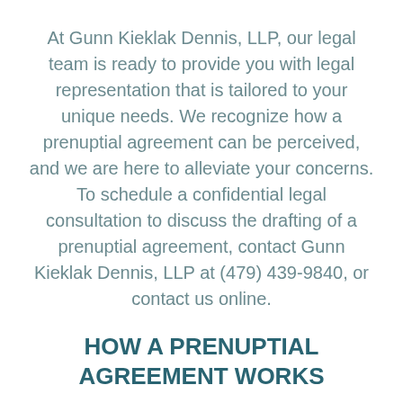At Gunn Kieklak Dennis, LLP, our legal team is ready to provide you with legal representation that is tailored to your unique needs. We recognize how a prenuptial agreement can be perceived, and we are here to alleviate your concerns. To schedule a confidential legal consultation to discuss the drafting of a prenuptial agreement, contact Gunn Kieklak Dennis, LLP at (479) 439-9840, or contact us online.
HOW A PRENUPTIAL AGREEMENT WORKS
Prenuptial agreements are used to protect the property and assets of a soon-to-be-